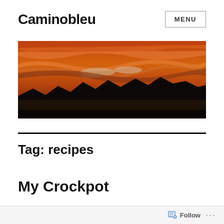Caminobleu
MENU
[Figure (photo): Panoramic landscape photo showing a dramatic orange and red sunset sky over dark mountain silhouettes]
Tag: recipes
My Crockpot
Follow ...